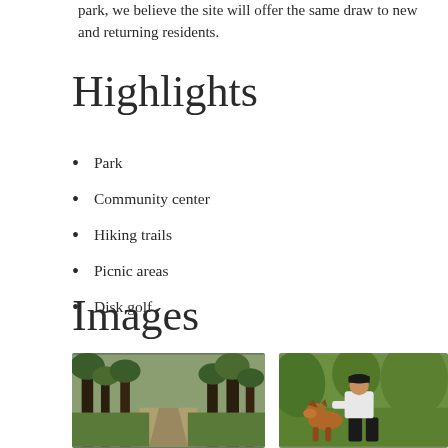park, we believe the site will offer the same draw to new and returning residents.
Highlights
Park
Community center
Hiking trails
Picnic areas
Disk golf
Images
[Figure (photo): Forest path with tall trees and a paved walkway through green grass]
[Figure (photo): Person in white shirt and cap crouching down to pet a German Shepherd dog in a park with green trees]